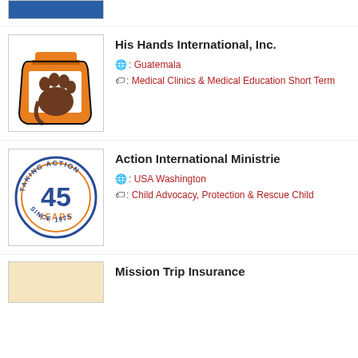[Figure (logo): Partial blue rectangle at top, remnant of previous entry logo]
[Figure (logo): His Hands International logo: orange and brown hand/jar illustration]
His Hands International, Inc.
🌎: Guatemala
🏷: Medical Clinics & Medical Education Short Term
[Figure (logo): Action International Ministrie logo: circular badge with '45 YEARS', 'TAKING ACTION', 'SINCE 1975' in blue and orange]
Action International Ministrie
🌎: USA Washington
🏷: Child Advocacy, Protection & Rescue Child
Mission Trip Insurance
[Figure (logo): Partial logo at bottom, partially visible]